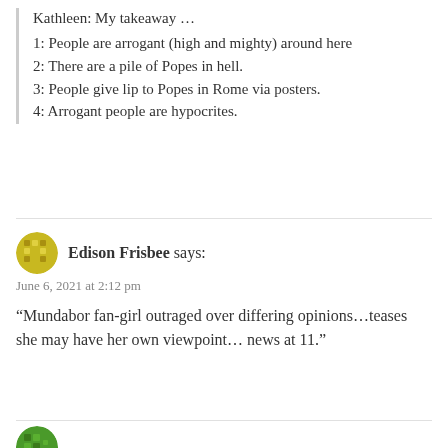Kathleen: My takeaway …
1: People are arrogant (high and mighty) around here
2: There are a pile of Popes in hell.
3: People give lip to Popes in Rome via posters.
4: Arrogant people are hypocrites.
Edison Frisbee says:
June 6, 2021 at 2:12 pm
“Mundabor fan-girl outraged over differing opinions…teases she may have her own viewpoint… news at 11.”